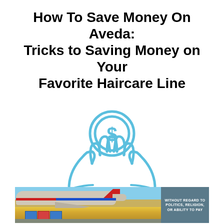How To Save Money On Aveda: Tricks to Saving Money on Your Favorite Haircare Line
[Figure (illustration): Blue line-art icon of two cupped hands holding a coin with a dollar sign, rendered in light blue outline style on white background]
[Figure (photo): Advertisement banner showing an airplane being loaded with cargo on the left, with a dark blue-gray panel on the right containing text 'WITHOUT REGARD TO POLITICS, RELIGION, OR ABILITY TO PAY']